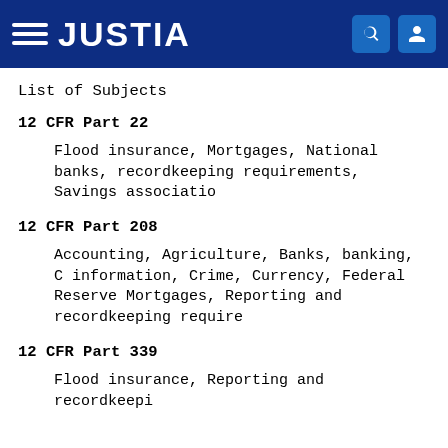JUSTIA
List of Subjects
12 CFR Part 22
Flood insurance, Mortgages, National banks, recordkeeping requirements, Savings associations.
12 CFR Part 208
Accounting, Agriculture, Banks, banking, Confidential information, Crime, Currency, Federal Reserve System, Mortgages, Reporting and recordkeeping requirements.
12 CFR Part 339
Flood insurance, Reporting and recordkeeping requirements.